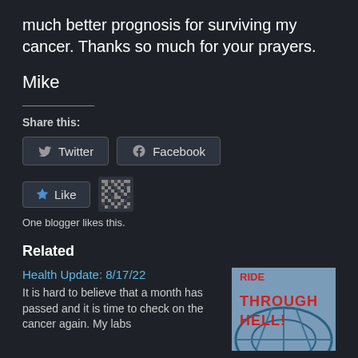much better prognosis for surviving my cancer. Thanks so much for your prayers.
Mike
Share this:
Twitter
Facebook
Like
One blogger likes this.
Related
Health Update: 8/17/22
It is hard to believe that a month has passed and it is time to check on the cancer again. My labs
[Figure (photo): Photo with text overlay reading THROUGH HELL! over a roller coaster image]